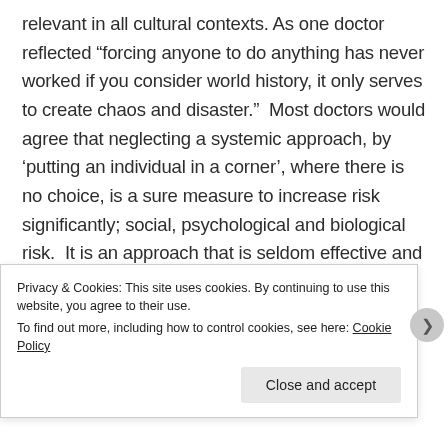relevant in all cultural contexts. As one doctor reflected “forcing anyone to do anything has never worked if you consider world history, it only serves to create chaos and disaster.”  Most doctors would agree that neglecting a systemic approach, by ‘putting an individual in a corner’, where there is no choice, is a sure measure to increase risk significantly; social, psychological and biological risk.  It is an approach that is seldom effective and often leads to significantly increased risk and harm.  Exceptions do exist, although clear evidence-based clinical indications or legal reasons are
Privacy & Cookies: This site uses cookies. By continuing to use this website, you agree to their use.
To find out more, including how to control cookies, see here: Cookie Policy